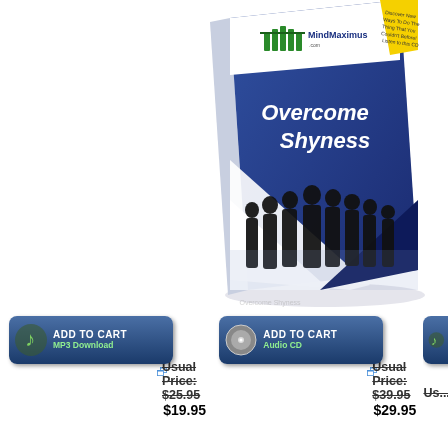[Figure (illustration): Book cover for 'Overcome Shyness' by MindMaximus.com. Blue and white book with silhouettes of business people on the front cover. Yellow corner tag on top right.]
[Figure (illustration): Add to Cart button for MP3 Download with music note icon on dark blue rounded rectangle background]
Usual Price: $25.95
$19.95
[Figure (illustration): Add to Cart button for Audio CD with CD disc icon on dark blue rounded rectangle background]
Usual Price: $39.95
$29.95
[Figure (illustration): Partial Add to Cart button (cropped) with music note and CD icons visible on dark blue rounded rectangle]